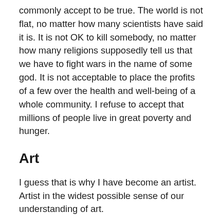commonly accept to be true. The world is not flat, no matter how many scientists have said it is. It is not OK to kill somebody, no matter how many religions supposedly tell us that we have to fight wars in the name of some god. It is not acceptable to place the profits of a few over the health and well-being of a whole community. I refuse to accept that millions of people live in great poverty and hunger.
Art
I guess that is why I have become an artist. Artist in the widest possible sense of our understanding of art.
Art as a creative tool – creating a new or better reality. A tool that can access the world of the soul. A tool that is